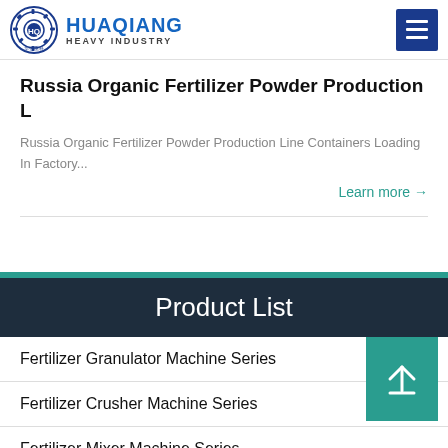HUAQIANG HEAVY INDUSTRY
Russia Organic Fertilizer Powder Production L
Russia Organic Fertilizer Powder Production Line Containers Loading In Factory...
Learn more →
Product List
Fertilizer Granulator Machine Series
Fertilizer Crusher Machine Series
Fertilizer Mixer Machine Series
Fertilizer Conveyors Series